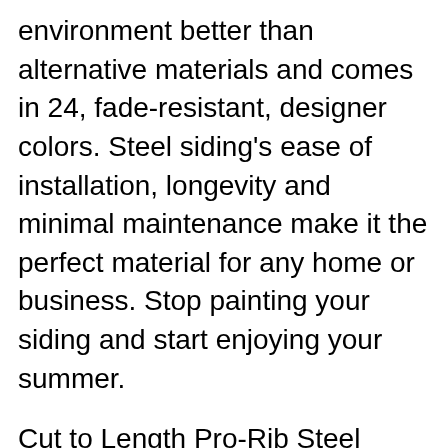environment better than alternative materials and comes in 24, fade-resistant, designer colors. Steel siding's ease of installation, longevity and minimal maintenance make it the perfect material for any home or business. Stop painting your siding and start enjoying your summer.
Cut to Length Pro-Rib Steel Panel at MenardsB®: Brite White Pro-Rib Steel Panel. Roof Soffits Steel Roofing Steel Siding Steel Fence Framing Materials Building Materials Steel Panels Sides For Ribs Garden Structures. More information. Saved by. Menards. Similar ideas 10/13/2016B B· Six full days of roofing condensed to four minutes. Pro-